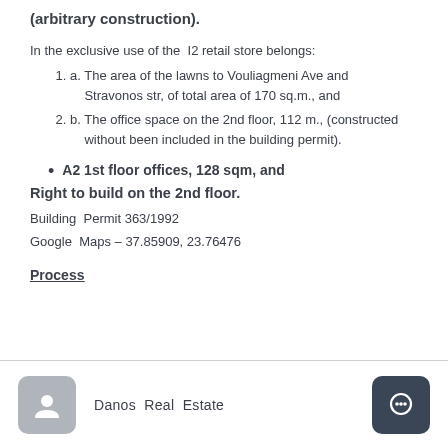(arbitrary construction).
In the exclusive use of the  I2 retail store belongs:
a. The area of the lawns to Vouliagmeni Ave and Stravonos str, of total area of 170 sq.m., and
b. The office space on the 2nd floor, 112 m., (constructed without been included in the building permit).
A2 1st floor offices, 128 sqm, and
Right to build on the 2nd floor.
Building Permit 363/1992
Google Maps – 37.85909, 23.76476
Process
Danos Real Estate